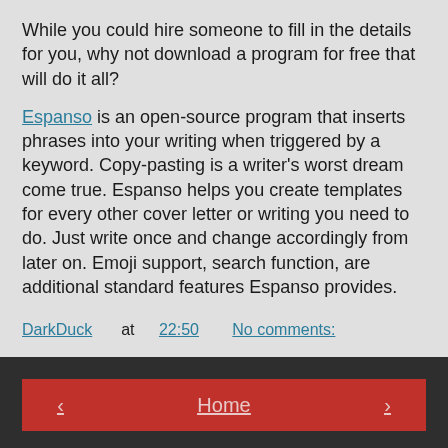While you could hire someone to fill in the details for you, why not download a program for free that will do it all?
Espanso is an open-source program that inserts phrases into your writing when triggered by a keyword. Copy-pasting is a writer's worst dream come true. Espanso helps you create templates for every other cover letter or writing you need to do. Just write once and change accordingly from later on. Emoji support, search function, are additional standard features Espanso provides.
DarkDuck  at 22:50  No comments:
< Home > View web version
Powered by Blogger.